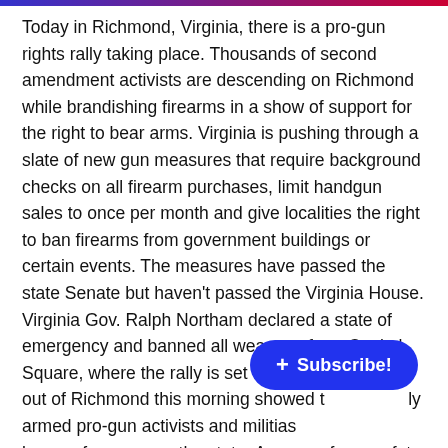Today in Richmond, Virginia, there is a pro-gun rights rally taking place. Thousands of second amendment activists are descending on Richmond while brandishing firearms in a show of support for the right to bear arms. Virginia is pushing through a slate of new gun measures that require background checks on all firearm purchases, limit handgun sales to once per month and give localities the right to ban firearms from government buildings or certain events. The measures have passed the state Senate but haven't passed the Virginia House. Virginia Gov. Ralph Northam declared a state of emergency and banned all weapons from Capitol Square, where the rally is set to be held. But video out of Richmond this morning showed [partially obscured] armed pro-gun activists and militias [partially obscured] busses from across the state. A group of gun safety